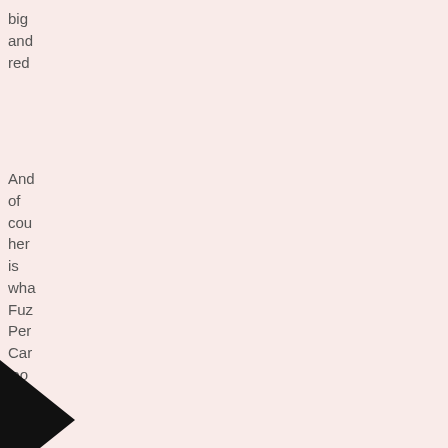big and red
And of course her is what Fuzzy Penguin Can look like the day
[Figure (illustration): Partial black geometric/angular shapes visible at bottom-left of the page, partially cropped]